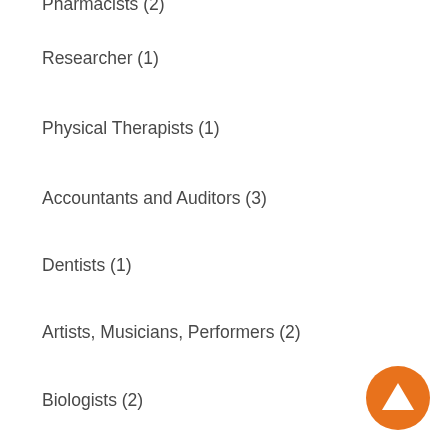Pharmacists (2)
Researcher (1)
Physical Therapists (1)
Accountants and Auditors (3)
Dentists (1)
Artists, Musicians, Performers (2)
Biologists (2)
Physicians (6)
Economists (1)
International Affairs (1)
Basic Medical Sciences (2)
Physicists (3)